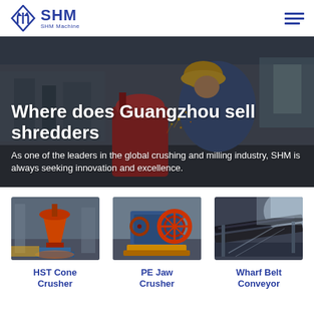SHM Machine
Where does Guangzhou sell shredders
As one of the leaders in the global crushing and milling industry, SHM is always seeking innovation and excellence.
[Figure (photo): Industrial worker in yellow hard hat and blue coveralls working with grinding equipment, sparks flying, machinery in background]
[Figure (photo): HST Cone Crusher machine in industrial factory setting]
HST Cone Crusher
[Figure (photo): PE Jaw Crusher machine with large flywheel in industrial setting]
PE Jaw Crusher
[Figure (photo): Wharf Belt Conveyor showing belt conveyor system in industrial facility]
Wharf Belt Conveyor